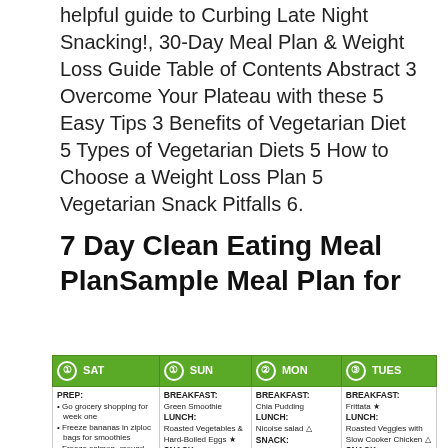helpful guide to Curbing Late Night Snacking!, 30-Day Meal Plan & Weight Loss Guide Table of Contents Abstract 3 Overcome Your Plateau with these 5 Easy Tips 3 Benefits of Vegetarian Diet 5 Types of Vegetarian Diets 5 How to Choose a Weight Loss Plan 5 Vegetarian Snack Pitfalls 6.
7 Day Clean Eating Meal PlanSample Meal Plan for
| ① SAT | ① SUN | ② MON | ③ TUES |
| --- | --- | --- | --- |
| PREP:
• Go grocery shopping for week one
• Freeze bananas in ziploc bags for smoothies
• Freeze salmon, ground turkey, & shrimp in separate ziploc bags | BREAKFAST:
Green Smoothie
LUNCH:
Roasted Vegetables & Hard-Boiled Eggs ★
SNACK:
Broiled Grapefruit ★
PREP:
Slow Cooker Chicken
DINNER:
Cauliflower pizza with... | BREAKFAST:
Chia Pudding
LUNCH:
Nicoise salad △
SNACK:
Carrots & Hummus
DINNER:
Squash with Ground Turkey & Veggies ★ | BREAKFAST:
Frittata ★
LUNCH:
Roasted Veggies with Slow Cooker Chicken △
SNACK:
Apple & Almonds
DINNER:
Salmon, Swiss Chard... |